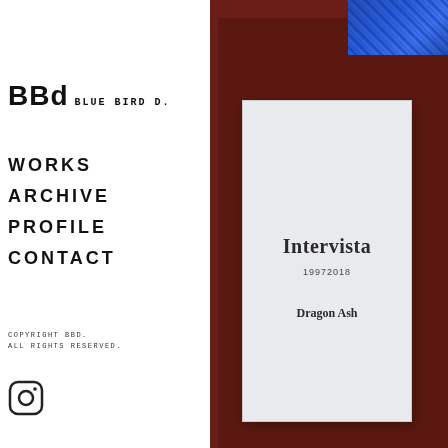BBd BLUE BIRD d.
WORKS
ARCHIVE
PROFILE
CONTACT
COPYRIGHT BBd.
ALL RIGHTS RESERVED.
[Figure (photo): Instagram icon (circle with rounded square outline)]
[Figure (photo): Right panel showing dark red/maroon background with a blue textured item in top-right corner and a white booklet/book cover in the center displaying 'Intervista 19972018 Dragon Ash']